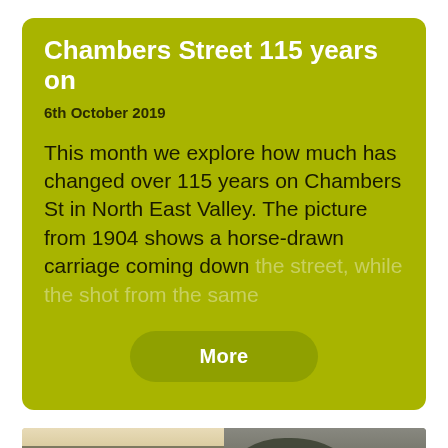Chambers Street 115 years on
6th October 2019
This month we explore how much has changed over 115 years on Chambers St in North East Valley. The picture from 1904 shows a horse-drawn carriage coming down the street, while the shot from the same
More
[Figure (photo): Two side-by-side photographs of Chambers Street. Left: sepia/black-and-white historic photo from 1904 showing old buildings with chimneys and rooftops. Right: modern colour photo showing trees and contemporary buildings.]